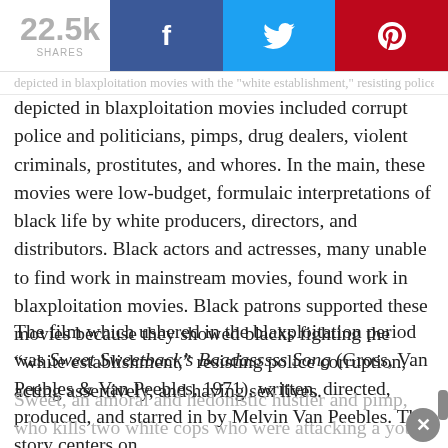[Figure (infographic): Social share bar showing 22.5k shares, with Facebook (blue), Twitter (cyan), and Pinterest (red) share buttons]
depicted in blaxploitation movies included corrupt police and politicians, pimps, drug dealers, violent criminals, prostitutes, and whores. In the main, these movies were low-budget, formulaic interpretations of black life by white producers, directors, and distributors. Black actors and actresses, many unable to find work in mainstream movies, found work in blaxploitation movies. Black patrons supported these movies because they showed blacks fighting the “white establishment,” resisting police corruption, acting assertively, and having sex lives.
The film which ushered in the blaxploitation period was Sweet Sweetback’s Baadasssss Song (Gross, Van Peebles & Van Peebles, 1971), written, directed, produced, and starred in by Melvin Van Peebles. The story centers on
Sweet, an amoral and hedonistic hustler and pimp, who kills two white cops who were attacking a young black radical. He